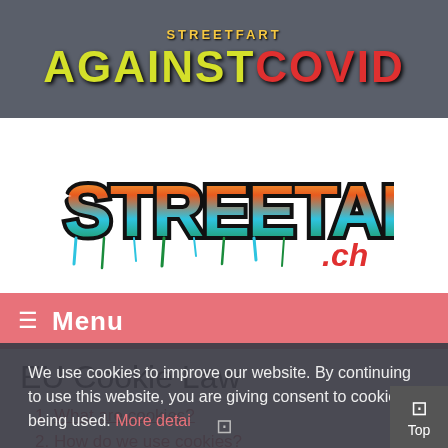[Figure (logo): Street Art Against Covid header logo with yellow-green graffiti text 'AGAINST' and red 'COVID' on dark gray background]
[Figure (logo): StreetArt.ch graffiti-style logo with multicolor dripping letters on white background]
☰  Menu
EU Cookie Law
1. What are cookies?
2. How do we use cookies?
3. Cookies used on our site
4. How to delete cookies or control them
We use cookies to improve our website. By continuing to use this website, you are giving consent to cookies being used. More detai…